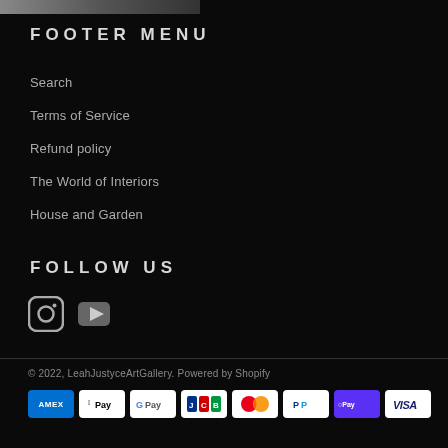[Figure (photo): Partial image strip at top of page]
FOOTER MENU
Search
Terms of Service
Refund policy
The World of Interiors
House and Garden
FOLLOW US
[Figure (illustration): Instagram and YouTube social media icons]
© 2022, LeahJustyceArtGallery. Powered by Shopify
[Figure (illustration): Payment method icons: AMEX, Apple Pay, Google Pay, JCB, Mastercard, PayPal, Shop Pay, Visa]